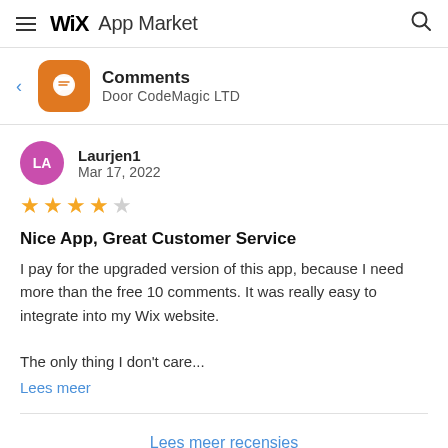Wix App Market
Comments
Door CodeMagic LTD
Laurjen1
Mar 17, 2022
4 out of 5 stars
Nice App, Great Customer Service
I pay for the upgraded version of this app, because I need more than the free 10 comments. It was really easy to integrate into my Wix website.

The only thing I don't care...
Lees meer
Lees meer recensies